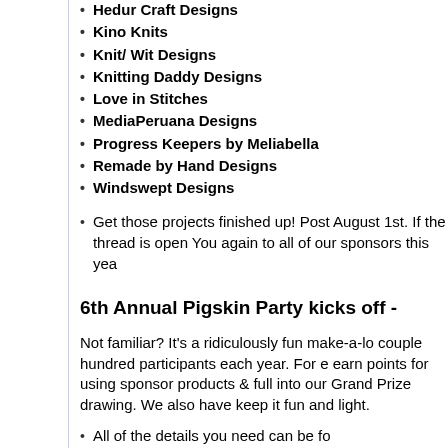Hedur Craft Designs
Kino Knits
Knit/ Wit Designs
Knitting Daddy Designs
Love in Stitches
MediaPeruana Designs
Progress Keepers by Meliabella
Remade by Hand Designs
Windswept Designs
Get those projects finished up! Post August 1st. If the thread is open You again to all of our sponsors this yea
6th Annual Pigskin Party kicks off -
Not familiar? It's a ridiculously fun make-a-lo couple hundred participants each year. For e earn points for using sponsor products & full into our Grand Prize drawing. We also have keep it fun and light.
All of the details you need can be fo
Want to sponsor? Details for the Sp
This year we're going to try out a Te and to sign up.Please note:  joining
Events
Online Event: Knit Girllis annual Stash Dash